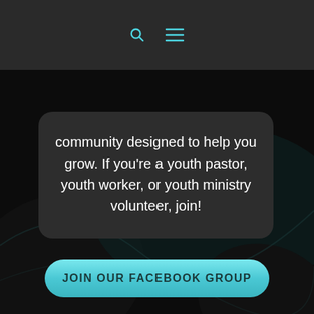community designed to help you grow. If you're a youth pastor, youth worker, or youth ministry volunteer, join!
JOIN OUR FACEBOOK GROUP